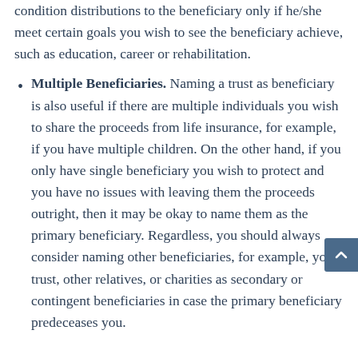condition distributions to the beneficiary only if he/she meet certain goals you wish to see the beneficiary achieve, such as education, career or rehabilitation.
Multiple Beneficiaries. Naming a trust as beneficiary is also useful if there are multiple individuals you wish to share the proceeds from life insurance, for example, if you have multiple children. On the other hand, if you only have single beneficiary you wish to protect and you have no issues with leaving them the proceeds outright, then it may be okay to name them as the primary beneficiary. Regardless, you should always consider naming other beneficiaries, for example, your trust, other relatives, or charities as secondary or contingent beneficiaries in case the primary beneficiary predeceases you.